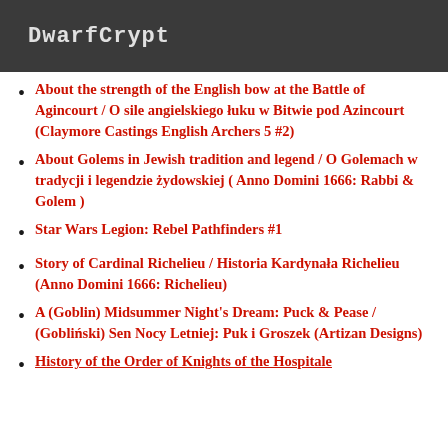DwarfCrypt
About the strength of the English bow at the Battle of Agincourt / O sile angielskiego łuku w Bitwie pod Azincourt (Claymore Castings English Archers 5 #2)
About Golems in Jewish tradition and legend / O Golemach w tradycji i legendzie żydowskiej ( Anno Domini 1666: Rabbi & Golem )
Star Wars Legion: Rebel Pathfinders #1
Story of Cardinal Richelieu / Historia Kardynała Richelieu (Anno Domini 1666: Richelieu)
A (Goblin) Midsummer Night's Dream: Puck & Pease / (Gobliński) Sen Nocy Letniej: Puk i Groszek (Artizan Designs)
History of the Order of Knights of the Hospitale...